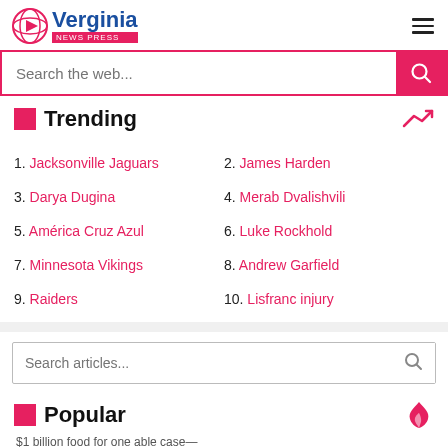Verginia News Press
Search the web...
Trending
1. Jacksonville Jaguars
2. James Harden
3. Darya Dugina
4. Merab Dvalishvili
5. América Cruz Azul
6. Luke Rockhold
7. Minnesota Vikings
8. Andrew Garfield
9. Raiders
10. Lisfranc injury
Search articles...
Popular